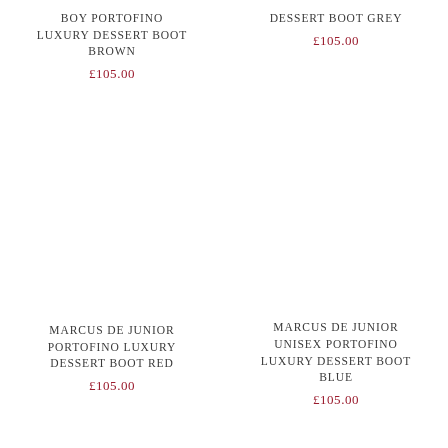BOY PORTOFINO LUXURY DESSERT BOOT BROWN
£105.00
DESSERT BOOT GREY
£105.00
MARCUS DE JUNIOR PORTOFINO LUXURY DESSERT BOOT RED
£105.00
MARCUS DE JUNIOR UNISEX PORTOFINO LUXURY DESSERT BOOT BLUE
£105.00